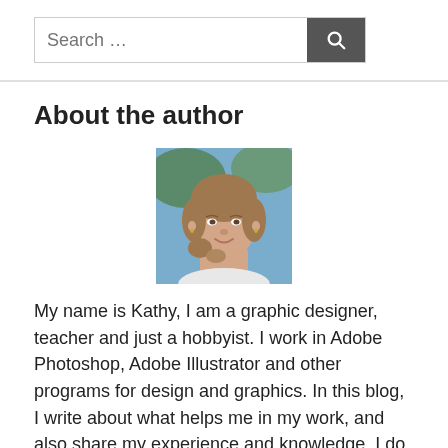Search …
About the author
[Figure (photo): Headshot photo of a smiling young woman with light brown wavy hair, wearing small earrings, outdoors background.]
My name is Kathy, I am a graphic designer, teacher and just a hobbyist. I work in Adobe Photoshop, Adobe Illustrator and other programs for design and graphics. In this blog, I write about what helps me in my work, and also share my experience and knowledge. I do not stop there, I am